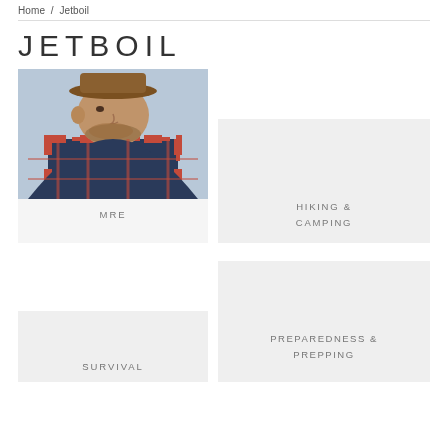Home / Jetboil
JETBOIL
[Figure (photo): Man in plaid shirt wearing a hat, outdoors portrait photo]
MRE
[Figure (photo): Hiking & Camping category card, light gray background, no image]
HIKING &
CAMPING
[Figure (photo): Survival category card, light gray background, no image]
SURVIVAL
[Figure (photo): Preparedness & Prepping category card, light gray background, no image]
PREPAREDNESS &
PREPPING